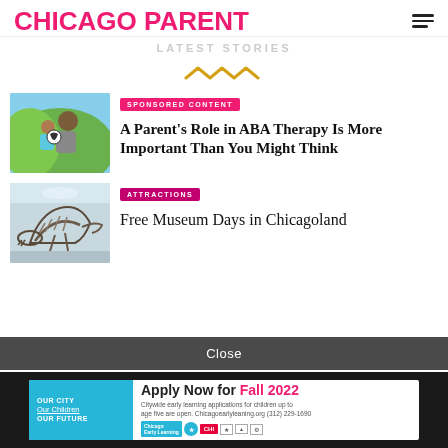CHICAGO PARENT
LATEST STORIES
[Figure (other): Zigzag/wave decorative divider in gold/amber color]
[Figure (photo): Father and child smiling together holding a soccer ball outdoors]
SPONSORED CONTENT
A Parent's Role in ABA Therapy Is More Important Than You Might Think
[Figure (photo): Dinosaur skeleton exhibit in a museum interior]
ATTRACTIONS
Free Museum Days in Chicagoland
Close
[Figure (infographic): Advertisement: Apply Now for Fall 2022 - Chicago Early Learning. OUR CITY Our Children OUR FUTURE. Citywide early learning applications for children up to age five are open. Chicagoearlyleaning.org (312) 229-1690]